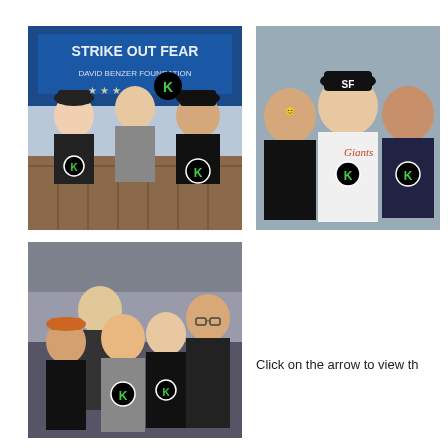[Figure (photo): Two people and a man in front of a 'STRIKE OUT FEAR - David Benzer Foundation' banner. All wearing K logo shirts/apparel.]
[Figure (photo): Three people posing together - a woman, a man in a Giants baseball jersey and SF Giants cap, and a woman wearing K logo shirt.]
[Figure (photo): Group of five people posing together, wearing black K logo apparel at what appears to a sports event or stadium.]
Click on the arrow to view th